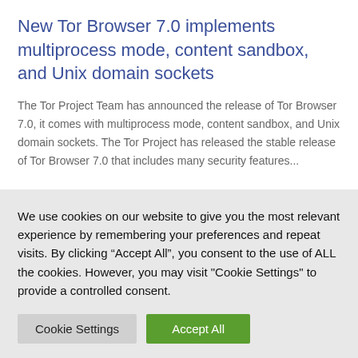New Tor Browser 7.0 implements multiprocess mode, content sandbox, and Unix domain sockets
The Tor Project Team has announced the release of Tor Browser 7.0, it comes with multiprocess mode, content sandbox, and Unix domain sockets. The Tor Project has released the stable release of Tor Browser 7.0 that includes many security features...
We use cookies on our website to give you the most relevant experience by remembering your preferences and repeat visits. By clicking “Accept All”, you consent to the use of ALL the cookies. However, you may visit "Cookie Settings" to provide a controlled consent.